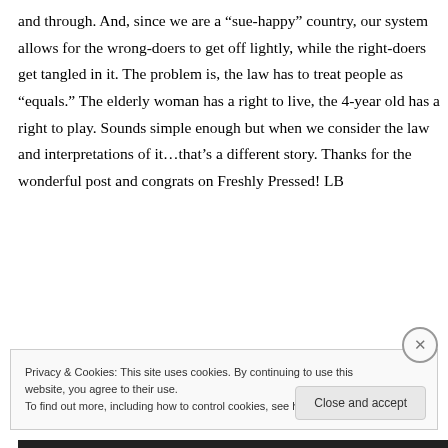and through. And, since we are a “sue-happy” country, our system allows for the wrong-doers to get off lightly, while the right-doers get tangled in it. The problem is, the law has to treat people as “equals.” The elderly woman has a right to live, the 4-year old has a right to play. Sounds simple enough but when we consider the law and interpretations of it…that’s a different story. Thanks for the wonderful post and congrats on Freshly Pressed! LB
Privacy & Cookies: This site uses cookies. By continuing to use this website, you agree to their use.
To find out more, including how to control cookies, see here: Cookie Policy